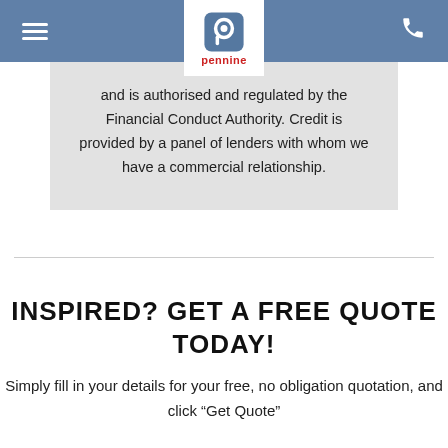Pennine — navigation header with hamburger menu, logo, and phone icon
and is authorised and regulated by the Financial Conduct Authority. Credit is provided by a panel of lenders with whom we have a commercial relationship.
INSPIRED? GET A FREE QUOTE TODAY!
Simply fill in your details for your free, no obligation quotation, and click “Get Quote”